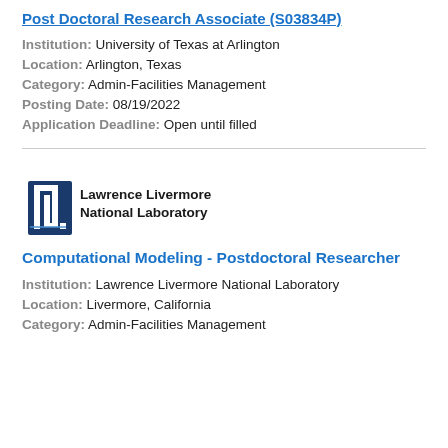Post Doctoral Research Associate (S03834P)
Institution: University of Texas at Arlington
Location: Arlington, Texas
Category: Admin-Facilities Management
Posting Date: 08/19/2022
Application Deadline: Open until filled
[Figure (logo): Lawrence Livermore National Laboratory logo with stylized L graphic and bold text]
Computational Modeling - Postdoctoral Researcher
Institution: Lawrence Livermore National Laboratory
Location: Livermore, California
Category: Admin-Facilities Management